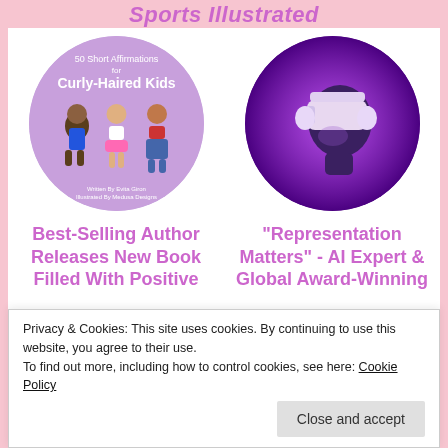Sports Illustrated
[Figure (illustration): Circular book cover for '50 Short Affirmations for Curly-Haired Kids' showing three cartoon girls with curly hair on a purple background. Written By Evita Giron, Illustrated By Medusa Designs.]
[Figure (photo): Circular photo of a person wearing a VR headset and headphones in purple lighting.]
Best-Selling Author Releases New Book Filled With Positive
"Representation Matters" - AI Expert & Global Award-Winning
Privacy & Cookies: This site uses cookies. By continuing to use this website, you agree to their use.
To find out more, including how to control cookies, see here: Cookie Policy